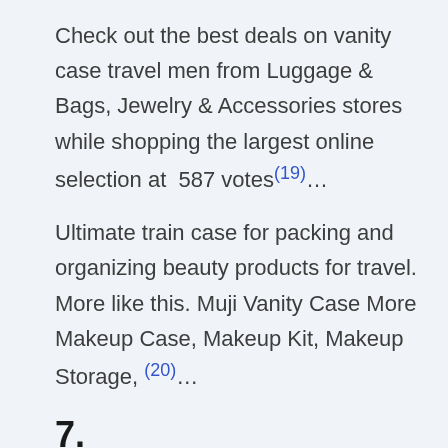Check out the best deals on vanity case travel men from Luggage & Bags, Jewelry & Accessories stores while shopping the largest online selection at  587 votes(19)…
Ultimate train case for packing and organizing beauty products for travel. More like this. Muji Vanity Case More Makeup Case, Makeup Kit, Makeup Storage, (20)…
7.